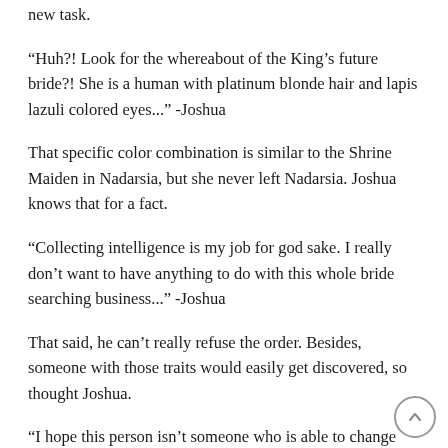new task.
“Huh?! Look for the whereabout of the King’s future bride?! She is a human with platinum blonde hair and lapis lazuli colored eyes...” -Joshua
That specific color combination is similar to the Shrine Maiden in Nadarsia, but she never left Nadarsia. Joshua knows that for a fact.
“Collecting intelligence is my job for god sake. I really don’t want to have anything to do with this whole bride searching business...” -Joshua
That said, he can’t really refuse the order. Besides, someone with those traits would easily get discovered, so thought Joshua.
“I hope this person isn’t someone who is able to change color like the Shrine Maiden.” -Joshua